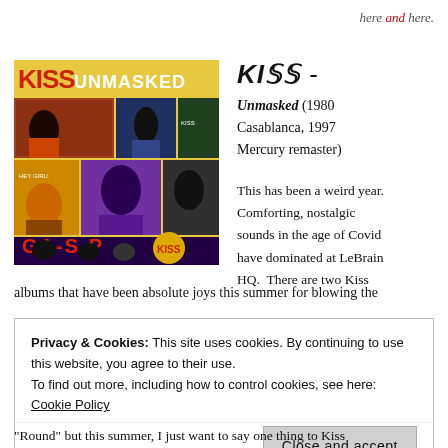here and here.
[Figure (illustration): KISS Unmasked album cover - comic book style artwork showing band members in various panels with colorful action scenes]
KISS -
Unmasked (1980 Casablanca, 1997 Mercury remaster)
This has been a weird year. Comforting, nostalgic sounds in the age of Covid have dominated at LeBrain HQ.  There are two Kiss
albums that have been absolute joys this summer for blowing the
Privacy & Cookies: This site uses cookies. By continuing to use this website, you agree to their use. To find out more, including how to control cookies, see here: Cookie Policy
Close and accept
“Round” but this summer, I just want to say one thing to Kiss